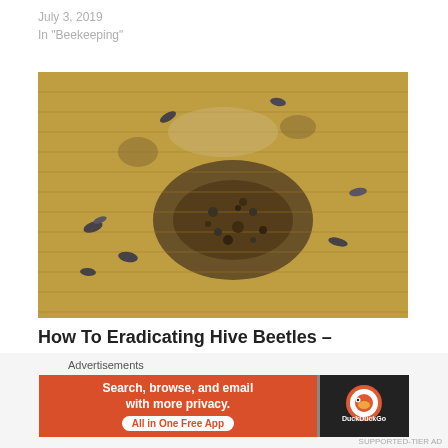July 3, 2019
In "Beekeeping"
[Figure (photo): Close-up photograph of a honeycomb with small hive beetles clustered in the center among bees.]
How To Eradicating Hive Beetles – Secrete To Success
May 27, 2019
In "Beekeeping"
Advertisements
[Figure (screenshot): DuckDuckGo advertisement banner: 'Search, browse, and email with more privacy. All in One Free App' on orange background with DuckDuckGo logo on dark background.]